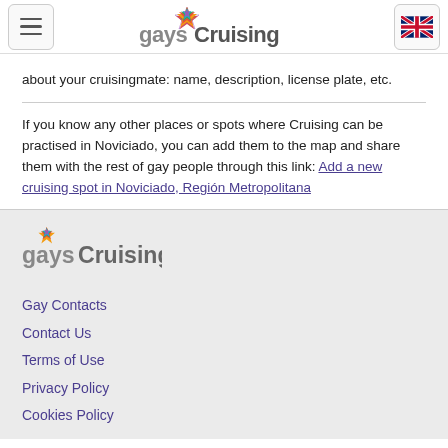gaysCruising header with menu and flag buttons
about your cruisingmate: name, description, license plate, etc.
If you know any other places or spots where Cruising can be practised in Noviciado, you can add them to the map and share them with the rest of gay people through this link: Add a new cruising spot in Noviciado, Región Metropolitana
gaysCruising footer with links: Gay Contacts, Contact Us, Terms of Use, Privacy Policy, Cookies Policy